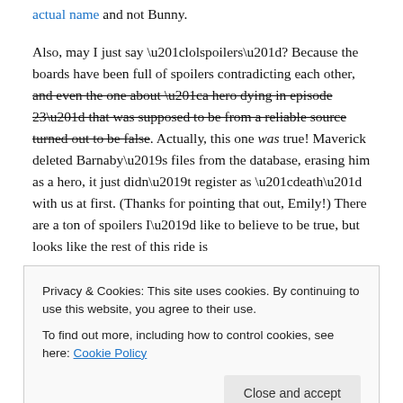actual name and not Bunny.
Also, may I just say “lolspoilers”? Because the boards have been full of spoilers contradicting each other, and even the one about “a hero dying in episode 23” that was supposed to be from a reliable source turned out to be false. Actually, this one was true! Maverick deleted Barnaby’s files from the database, erasing him as a hero, it just didn’t register as “death” with us at first. (Thanks for pointing that out, Emily!) There are a ton of spoilers I’d like to believe to be true, but looks like the rest of this ride is
Privacy & Cookies: This site uses cookies. By continuing to use this website, you agree to their use.
To find out more, including how to control cookies, see here: Cookie Policy